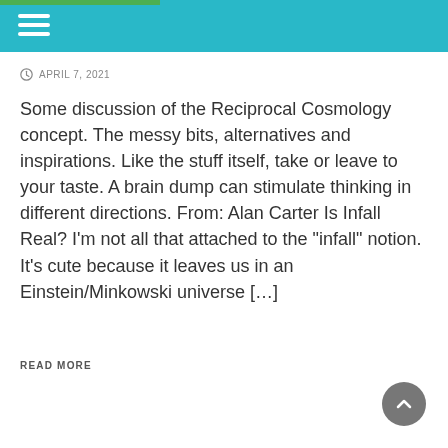APRIL 7, 2021
Some discussion of the Reciprocal Cosmology concept. The messy bits, alternatives and inspirations. Like the stuff itself, take or leave to your taste. A brain dump can stimulate thinking in different directions. From: Alan Carter Is Infall Real? I’m not all that attached to the “infall” notion. It’s cute because it leaves us in an Einstein/Minkowski universe […]
READ MORE